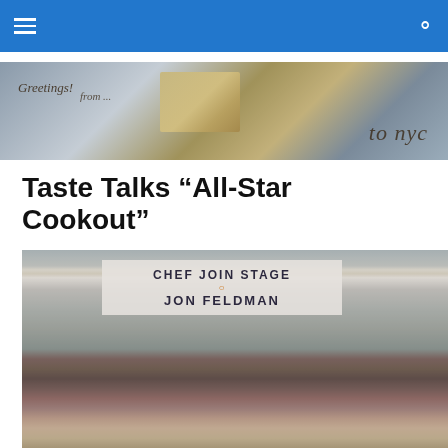Navigation bar with hamburger menu and search icon
[Figure (photo): Banner image reading 'Greetings! from... to nyc' with postcard style collage background]
Taste Talks “All-Star Cookout”
[Figure (photo): Outdoor cookout event photo showing Chef Jon Stage tent with banner reading 'CHEF JOIN STAGE JON FELDMAN', vendor tables with food, attendees browsing food stalls]